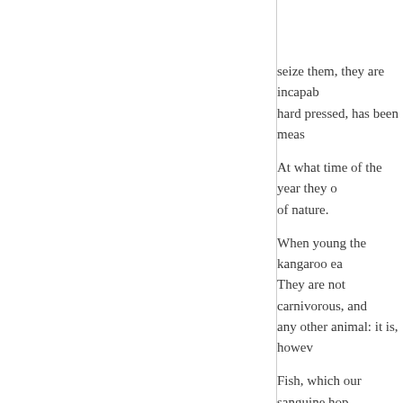seize them, they are incapable hard pressed, has been meas
At what time of the year they of nature.
When young the kangaroo ea They are not carnivorous, and any other animal: it is, howev
Fish, which our sanguine hop months past very few have be
Port Jackson. The French onc head resembling a helmet, we and many other species, all s are found here. One of these circumference. His liver yielde overboard from the same ship these terrible fish.
Venomous animals and reptile are happily ignorant. Insects